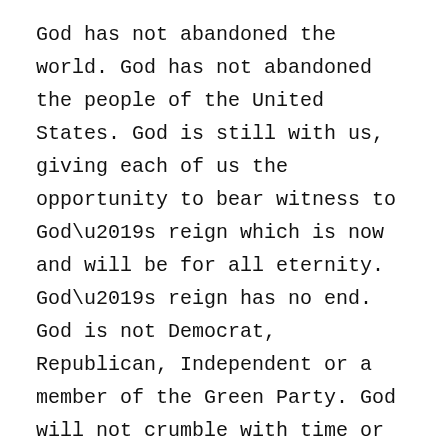God has not abandoned the world. God has not abandoned the people of the United States. God is still with us, giving each of us the opportunity to bear witness to God’s reign which is now and will be for all eternity. God’s reign has no end. God is not Democrat, Republican, Independent or a member of the Green Party. God will not crumble with time or succumb to the elements like the great pyramids or coliseums and no other human being will ever be able to take it away.
Jesus himself said that:
“You have heard that it was said, ‘Love your